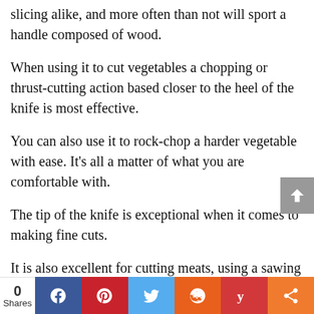slicing alike, and more often than not will sport a handle composed of wood.
When using it to cut vegetables a chopping or thrust-cutting action based closer to the heel of the knife is most effective.
You can also use it to rock-chop a harder vegetable with ease. It’s all a matter of what you are comfortable with.
The tip of the knife is exceptional when it comes to making fine cuts.
It is also excellent for cutting meats, using a sawing back and forth motion for the larger
0 Shares | Facebook | Pinterest | Twitter | Reddit | Yummly | Share